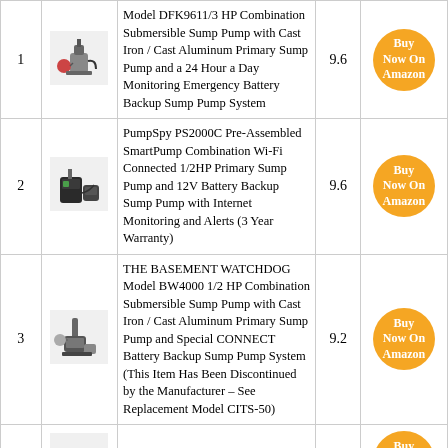| # | Image | Product | Score | Action |
| --- | --- | --- | --- | --- |
| 1 | [img] | Model DFK9611/3 HP Combination Submersible Sump Pump with Cast Iron / Cast Aluminum Primary Sump Pump and a 24 Hour a Day Monitoring Emergency Battery Backup Sump Pump System | 9.6 | Buy Now On Amazon |
| 2 | [img] | PumpSpy PS2000C Pre-Assembled SmartPump Combination Wi-Fi Connected 1/2HP Primary Sump Pump and 12V Battery Backup Sump Pump with Internet Monitoring and Alerts (3 Year Warranty) | 9.6 | Buy Now On Amazon |
| 3 | [img] | THE BASEMENT WATCHDOG Model BW4000 1/2 HP Combination Submersible Sump Pump with Cast Iron / Cast Aluminum Primary Sump Pump and Special CONNECT Battery Backup Sump Pump System (This Item Has Been Discontinued by the Manufacturer – See Replacement Model CITS-50) | 9.2 | Buy Now On Amazon |
| 4 | [img] | Pump Sentry Battery Backup 1622 PS | 9.2 | Buy Now On Amazon |